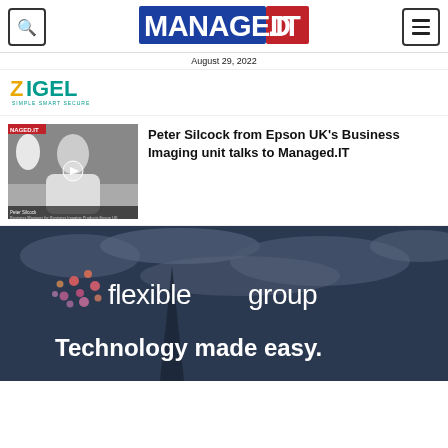MANAGED.IT — navigation header with search and menu icons
August 29, 2022
[Figure (logo): ZIGEL logo with tagline SIMPLE SMART SECURE]
[Figure (photo): Video thumbnail showing Peter Silcock, Business Manager for Business Imaging Products, Epson UK, with MANAGED.IT badge]
Peter Silcock from Epson UK's Business Imaging unit talks to Managed.IT
[Figure (photo): Flexible Group banner showing flexible group logo with dots and tagline Technology made easy. against a dark cloudy sky background]